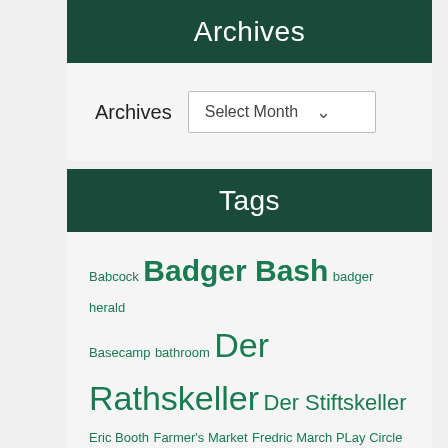Archives
Archives  Select Month
Tags
Babcock
Badger Bash
badger herald
Basecamp
bathroom
Der Rathskeller
Der Stiftskeller
Eric Booth
Farmer's Market
Fredric March PLay Circle
Hidden Treasures
Hoofers
Lakeside Cinema
Memorial Union
Memorial Union Reinvestment